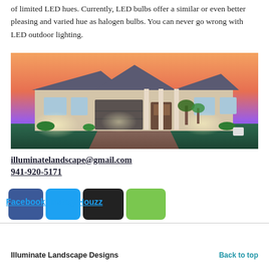of limited LED hues. Currently, LED bulbs offer a similar or even better pleasing and varied hue as halogen bulbs. You can never go wrong with LED outdoor lighting.
[Figure (photo): Exterior photo of a large suburban home at dusk with warm LED landscape lighting illuminating the facade, columns, and landscaping. Pink and purple sunset sky in the background.]
illuminatelandscape@gmail.com
941-920-5171
Facebook  Instagram  Houzz
Illuminate Landscape Designs    Back to top